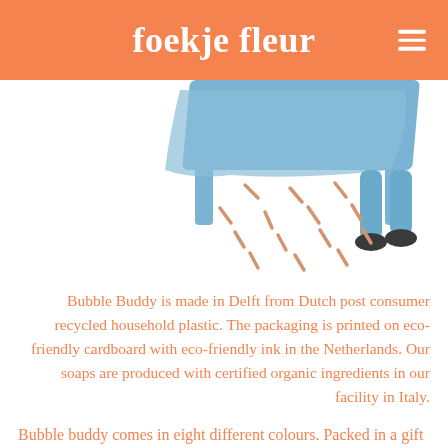foekje fleur
[Figure (illustration): Illustration of a person in blue pushing or interacting with a table, with scattered stick/confetti shapes falling below in orange/tan colors]
Bubble Buddy is made in Delft from Dutch post consumer recycled household plastic. The packaging is printed on eco-friendly cardboard with eco-friendly ink in the Netherlands. Our soaps are produced with certified organic ingredients in our facility in Italy.
Bubble buddy comes in eight different colours. Packed in a gift box designed by rachel sender. If you don't want to treat yourself... It's the perfect gift for your aunty, that hipster frien